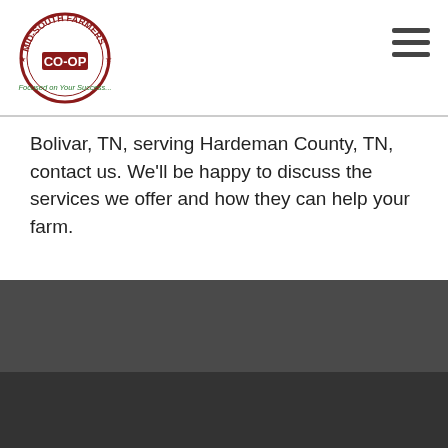[Figure (logo): Mid-South Farmers Co-op logo with circular badge design and tagline 'Focused on Your Success...']
Bolivar, TN, serving Hardeman County, TN, contact us. We'll be happy to discuss the services we offer and how they can help your farm.
[Figure (logo): Mid-South Farmers Co-op footer logo, circular badge design]
Contact Us
Portal Login
[Figure (other): Facebook and Twitter social media icons (circular outlines, white on dark background)]
Mid-South Farmers Co-op  ADDRESS:
1295 Boyd Ave.
Brownsville, TN, 38012-0285    MAIL:
PO Box 285   Brownsville, TN, 38025-0285    P: (731) 772-9432
@2018 Mid-South Farmers Coop. All rights reserved. View data privacy policy | Site Map
[Figure (logo): Powered by WINFIELD UNITED logo in bold white letters on dark background]